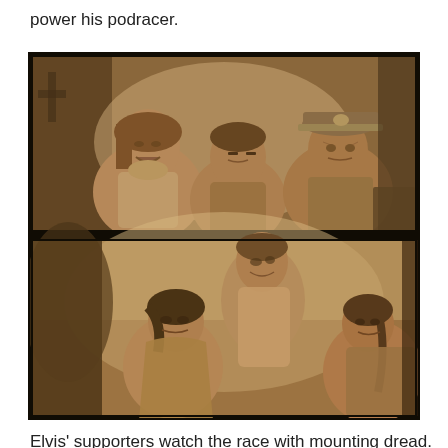power his podracer.
[Figure (photo): Two sepia-toned film stills stacked vertically. Top image: a woman and two men inside what appears to be a vehicle or cockpit, looking alarmed. Bottom image: three people (two women and a man) watching something with concern or tension.]
Elvis’ supporters watch the race with mounting dread.
Anakin’s supporters watch the podrace with mounting